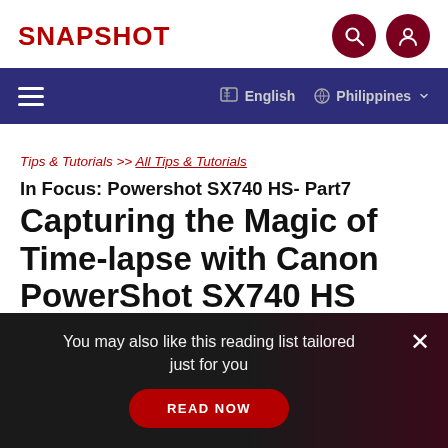SNAPSHOT
English | Philippines
Tips & Tutorials >> All Tips & Tutorials
In Focus: Powershot SX740 HS- Part7 Capturing the Magic of Time-lapse with Canon PowerShot SX740 HS
You may also like this reading list tailored just for you
READ NOW